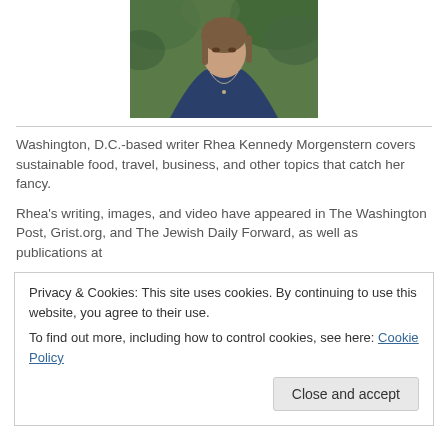[Figure (photo): Portrait photo of a woman wearing a dark blue top with a delicate necklace, photographed outdoors with green foliage background]
Washington, D.C.-based writer Rhea Kennedy Morgenstern covers sustainable food, travel, business, and other topics that catch her fancy.
Rhea's writing, images, and video have appeared in The Washington Post, Grist.org, and The Jewish Daily Forward, as well as publications at
Privacy & Cookies: This site uses cookies. By continuing to use this website, you agree to their use.
To find out more, including how to control cookies, see here: Cookie Policy